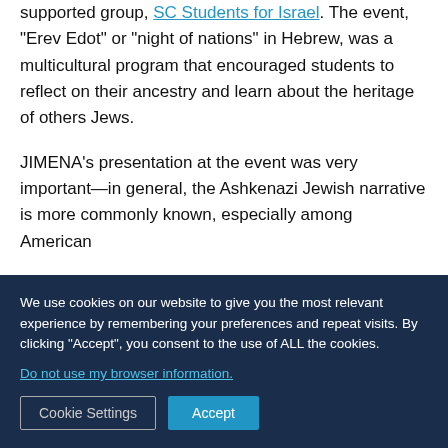Southern California branch hosted by the JAFI-supported group, SC Students for Israel. The event, "Erev Edot" or "night of nations" in Hebrew, was a multicultural program that encouraged students to reflect on their ancestry and learn about the heritage of others Jews.
JIMENA's presentation at the event was very important—in general, the Ashkenazi Jewish narrative is more commonly known, especially among American...
We use cookies on our website to give you the most relevant experience by remembering your preferences and repeat visits. By clicking "Accept", you consent to the use of ALL the cookies. Do not use my browser information.